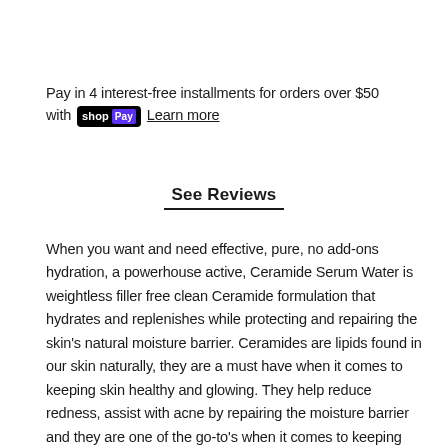Pay in 4 interest-free installments for orders over $50 with shop Pay Learn more
See Reviews
When you want and need effective, pure, no add-ons hydration, a powerhouse active, Ceramide Serum Water is weightless filler free clean Ceramide formulation that hydrates and replenishes while protecting and repairing the skin's natural moisture barrier. Ceramides are lipids found in our skin naturally, they are a must have when it comes to keeping skin healthy and glowing. They help reduce redness, assist with acne by repairing the moisture barrier and they are one of the go-to's when it comes to keeping skin youthful and supple, reducing fine lines and delivering meaningful antiaging results.